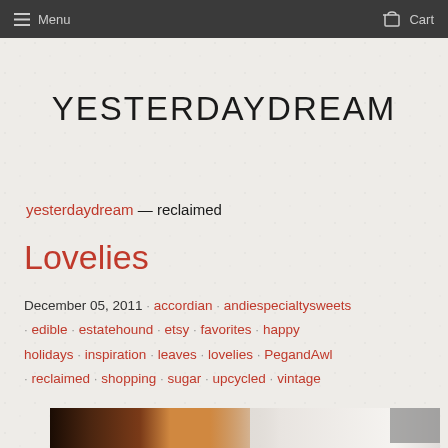Menu   Cart
YESTERDAYDREAM
yesterdaydream — reclaimed
Lovelies
December 05, 2011 · accordian · andiespecialtysweets · edible · estatehound · etsy · favorites · happy holidays · inspiration · leaves · lovelies · PegandAwl · reclaimed · shopping · sugar · upcycled · vintage
[Figure (photo): Photo of a person reading in a bathtub, warm wooden background on the left with candlelight, white bath foam on the right]